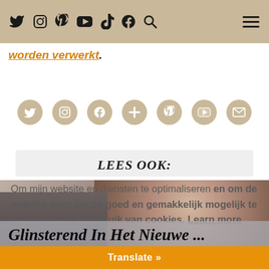Social media navigation bar with icons: Twitter, Instagram, Pinterest, YouTube, TikTok, Facebook, Search, and hamburger menu
worden verwerkt.
[Figure (other): Row of social media icons in tan/beige circles: Twitter, Instagram, Facebook, Plus, Pinterest, YouTube, Email]
LEES OOK:
Om mijn website en diensten te optimaliseren en om de website voor jou zo goed en gemakkelijk mogelijk te maken, maak ik gebruik van cookies. Learn more
[Figure (photo): Photo of a person wearing a glittery/sparkly outfit, partially visible]
Glinsterend In Het Nieuwe ...
Translate »